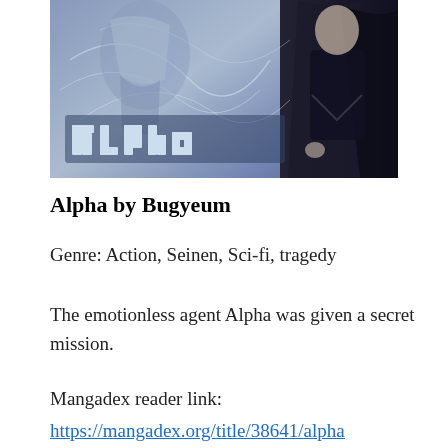[Figure (illustration): Manga cover illustration for 'Alpha' showing stylized characters and the title 'alpha' in blocky decorated letters against a grey/blue background]
Alpha by Bugyeum
Genre: Action, Seinen, Sci-fi, tragedy
The emotionless agent Alpha was given a secret mission.
Mangadex reader link:
https://mangadex.org/title/38641/alpha